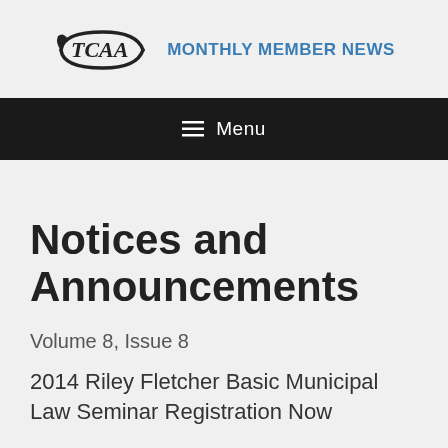TCAA MONTHLY MEMBER NEWS
Menu
Notices and Announcements
Volume 8, Issue 8
2014 Riley Fletcher Basic Municipal Law Seminar Registration Now